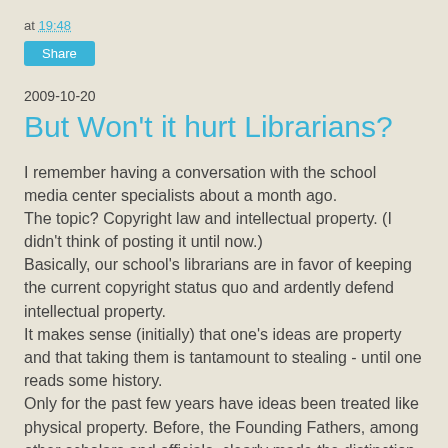at 19:48
Share
2009-10-20
But Won't it hurt Librarians?
I remember having a conversation with the school media center specialists about a month ago.
The topic? Copyright law and intellectual property. (I didn't think of posting it until now.)
Basically, our school's librarians are in favor of keeping the current copyright status quo and ardently defend intellectual property.
It makes sense (initially) that one's ideas are property and that taking them is tantamount to stealing - until one reads some history.
Only for the past few years have ideas been treated like physical property. Before, the Founding Fathers, among other scholars and officials, clearly made the distinction